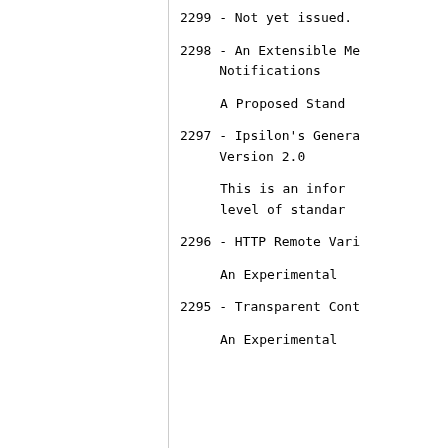2299 - Not yet issued.
2298 - An Extensible Me
     Notifications
A Proposed Stand
2297 - Ipsilon's Genera
     Version 2.0
This is an infor
level of standar
2296 - HTTP Remote Vari
An Experimental
2295 - Transparent Cont
An Experimental